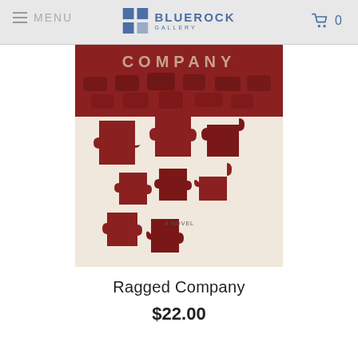Menu | BLUEROCK GALLERY | Cart 0
[Figure (photo): Book cover of 'Ragged Company' — a novel. Cream/beige background with dark red puzzle pieces scattered across the surface, some partially assembled. The word COMPANY is visible at the top in dark red lettering against a red background fade.]
Ragged Company
$22.00